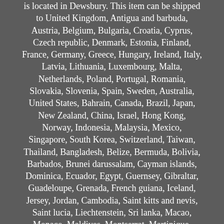is located in Dewsbury. This item can be shipped to United Kingdom, Antigua and barbuda, Austria, Belgium, Bulgaria, Croatia, Cyprus, Czech republic, Denmark, Estonia, Finland, France, Germany, Greece, Hungary, Ireland, Italy, Latvia, Lithuania, Luxembourg, Malta, Netherlands, Poland, Portugal, Romania, Slovakia, Slovenia, Spain, Sweden, Australia, United States, Bahrain, Canada, Brazil, Japan, New Zealand, China, Israel, Hong Kong, Norway, Indonesia, Malaysia, Mexico, Singapore, South Korea, Switzerland, Taiwan, Thailand, Bangladesh, Belize, Bermuda, Bolivia, Barbados, Brunei darussalam, Cayman islands, Dominica, Ecuador, Egypt, Guernsey, Gibraltar, Guadeloupe, Grenada, French guiana, Iceland, Jersey, Jordan, Cambodia, Saint kitts and nevis, Saint lucia, Liechtenstein, Sri lanka, Macao, Monaco, Maldives, Montserrat, Martinique, Nicaragua, Oman, Pakistan, Peru, Paraguay, Reunion, Turks and caicos islands, Aruba, Saudi arabia, South africa, United arab emirates, Ukraine, Chile, Bahamas, Colombia, Costa rica, Dominican republic, Guatemala, Honduras, Jamaica, Kuwait, Panama, Philippines, Qatar, El salvador, Trinidad and tobago, Uruguay, Viet nam, Russian federation.